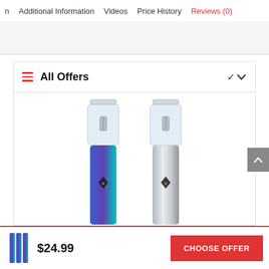n   Additional information   Videos   Price History   Reviews (0)
All Offers
[Figure (photo): Two vape pen devices side by side — one with a blue-to-teal gradient body and one with a silver/chrome body, both with clear transparent tank tops and a diamond-shaped logo on the body.]
$24.99
CHOOSE OFFER